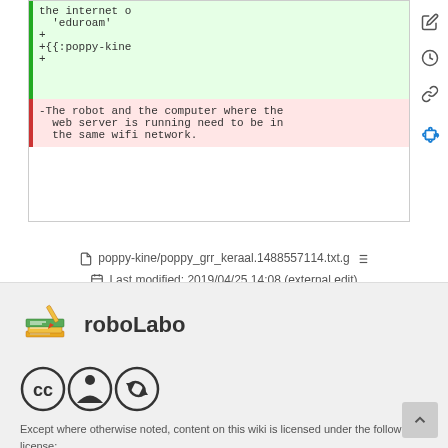the internet o
'eduroam'
+
+{{:poppy-kine
+
-The robot and the computer where the web server is running need to be in the same wifi network.
poppy-kine/poppy_grr_keraal.1488557114.txt.g
Last modified: 2019/04/25 14:08 (external edit)
[Figure (logo): roboLabo logo with stacked books/notes illustration]
roboLabo
[Figure (logo): Creative Commons CC Attribution-Share Alike icons]
Except where otherwise noted, content on this wiki is licensed under the following license:
CC Attribution-Share Alike 3.0 Unported